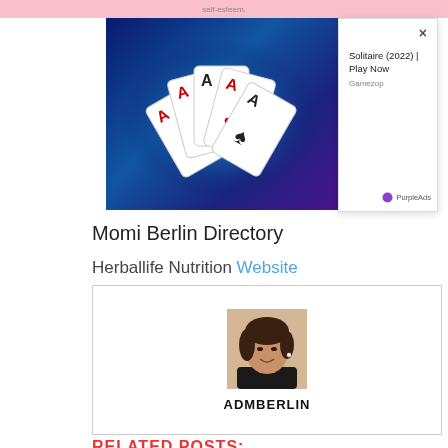[Figure (screenshot): Pink header bar with text 'self-esteem.']
[Figure (photo): Advertisement image showing playing cards (Aces) on a blue glowing background.]
[Figure (screenshot): Advertisement overlay box with close button (x), text 'Solitaire (2022) | Play Now', 'Gamezop', and PurpleAds branding.]
Momi Berlin Directory
Herballife Nutrition Website
[Figure (photo): Profile card showing a photo of a smiling Asian woman with dark hair, labeled ADMBERLIN below.]
RELATED POSTS: